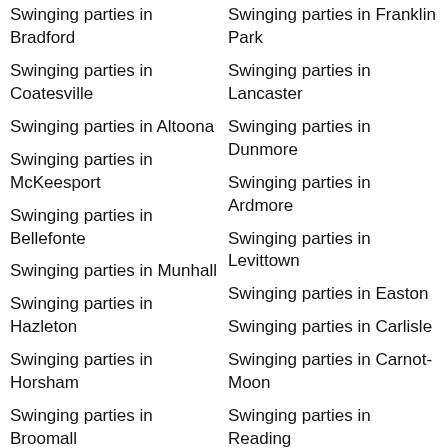Swinging parties in Bradford
Swinging parties in Coatesville
Swinging parties in Altoona
Swinging parties in McKeesport
Swinging parties in Bellefonte
Swinging parties in Munhall
Swinging parties in Hazleton
Swinging parties in Horsham
Swinging parties in Broomall
Swinging parties in Lebanon
Swinging parties in Scranton
Swinging parties in Mount Pocono
Swinging parties in Franklin Park
Swinging parties in Lancaster
Swinging parties in Dunmore
Swinging parties in Ardmore
Swinging parties in Levittown
Swinging parties in Easton
Swinging parties in Carlisle
Swinging parties in Carnot-Moon
Swinging parties in Reading
Swinging parties in Shippensburg
Swinging parties in Weigelstown